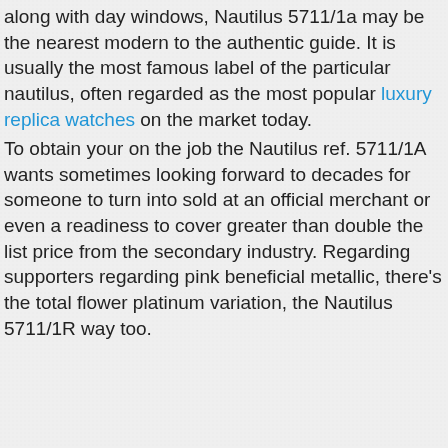along with day windows, Nautilus 5711/1a may be the nearest modern to the authentic guide. It is usually the most famous label of the particular nautilus, often regarded as the most popular luxury replica watches on the market today.
To obtain your on the job the Nautilus ref. 5711/1A wants sometimes looking forward to decades for someone to turn into sold at an official merchant or even a readiness to cover greater than double the list price from the secondary industry. Regarding supporters regarding pink beneficial metallic, there's the total flower platinum variation, the Nautilus 5711/1R way too.